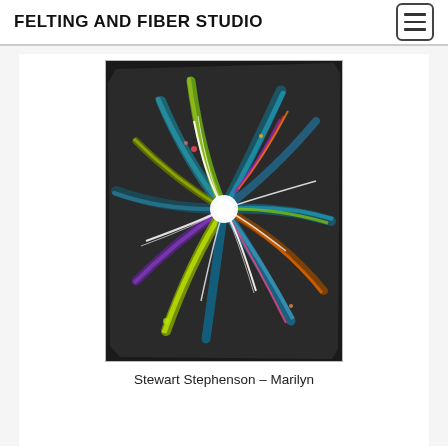FELTING AND FIBER STUDIO
[Figure (photo): A felted artwork on dark background with colorful fiber strands radiating from a central white circular point, creating a starburst or fireworks pattern. The piece is roughly rectangular with irregular edges. Colors include green, teal, pink, red, purple, blue, and white on a dark grey/black base.]
Stewart Stephenson – Marilyn